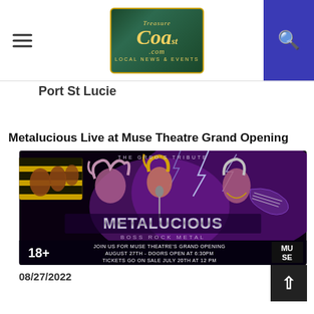TreasureCoast.com - Local News & Events
Port St Lucie
Metalucious Live at Muse Theatre Grand Opening
[Figure (photo): Concert promotional banner for Metalucious (The Grbo's Tribute) - a 'Boss Rock Metal' show. Features rock musicians playing guitar under purple/lightning stage lighting. Text on image: 'JOIN US FOR MUSE THEATRE'S GRAND OPENING AUGUST 27TH - DOORS OPEN AT 6:30PM TICKETS GO ON SALE JULY 20TH AT 12 PM'. Shows '18+' and Muse Theatre logo.]
08/27/2022